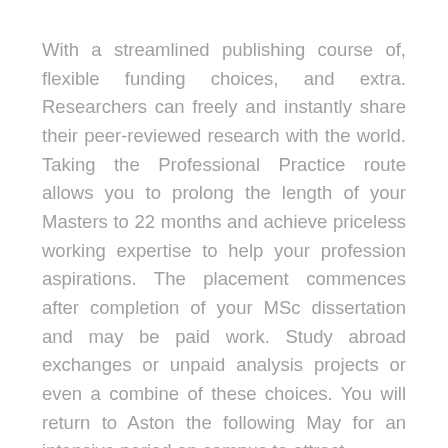With a streamlined publishing course of, flexible funding choices, and extra. Researchers can freely and instantly share their peer-reviewed research with the world. Taking the Professional Practice route allows you to prolong the length of your Masters to 22 months and achieve priceless working expertise to help your profession aspirations. The placement commences after completion of your MSc dissertation and may be paid work. Study abroad exchanges or unpaid analysis projects or even a combine of these choices. You will return to Aston the following May for an intensive period on campus to attract